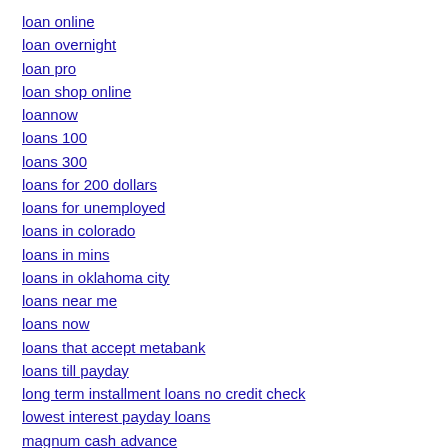loan online
loan overnight
loan pro
loan shop online
loannow
loans 100
loans 300
loans for 200 dollars
loans for unemployed
loans in colorado
loans in mins
loans in oklahoma city
loans near me
loans now
loans that accept metabank
loans till payday
long term installment loans no credit check
lowest interest payday loans
magnum cash advance